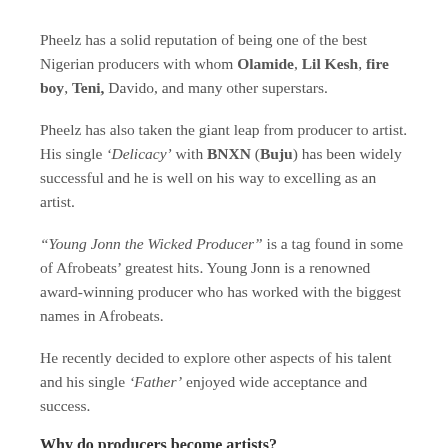Pheelz has a solid reputation of being one of the best Nigerian producers with whom Olamide, Lil Kesh, fire boy, Teni, Davido, and many other superstars.
Pheelz has also taken the giant leap from producer to artist. His single 'Delicacy' with BNXN (Buju) has been widely successful and he is well on his way to excelling as an artist.
“Young Jonn the Wicked Producer” is a tag found in some of Afrobeats’ greatest hits. Young Jonn is a renowned award-winning producer who has worked with the biggest names in Afrobeats.
He recently decided to explore other aspects of his talent and his single ‘Father’ enjoyed wide acceptance and success.
Why do producers become artists?